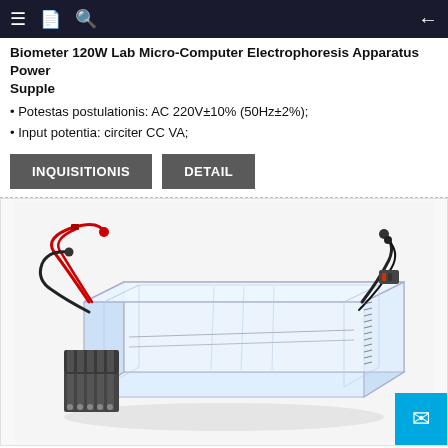Biometer 120W Lab Micro-Computer Electrophoresis Apparatus Power Supple
Biometer 120W Lab Micro-Computer Electrophoresis Apparatus Power Supple
Potestas postulationis: AC 220V±10% (50Hz±2%);
Input potentia: circiter CC VA;
INQUISITIONIS   DETAIL
[Figure (photo): Lab electrophoresis apparatus — a clear acrylic rectangular tank with red and black electrode cables on left side, black cables on right side, and gel combs visible at the bottom left.]